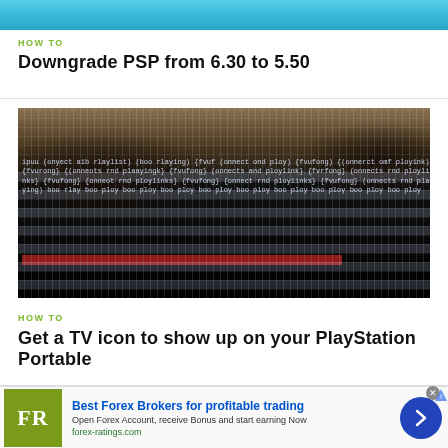[Figure (screenshot): Blue gradient banner strip at the top of the page]
HOW TO
Downgrade PSP from 6.30 to 5.50
[Figure (photo): Blurry photo of a PSP handheld gaming device showing a text-filled screen, dark silhouette of the device top with a red highlighted row of text in the middle of the screen]
HOW TO
Get a TV icon to show up on your PlayStation Portable
[Figure (other): Advertisement banner: Best Forex Brokers for profitable trading - FR logo in olive green, blue arrow button, forex-ratings.com]